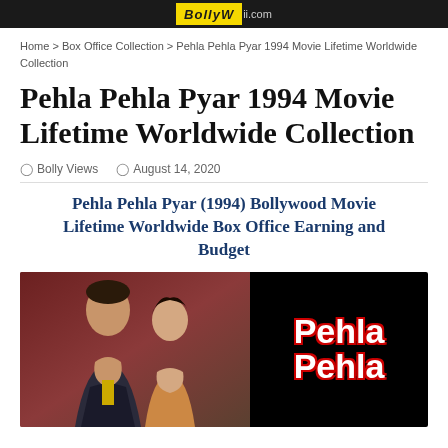BollyViews.com
Home > Box Office Collection > Pehla Pehla Pyar 1994 Movie Lifetime Worldwide Collection
Pehla Pehla Pyar 1994 Movie Lifetime Worldwide Collection
Bolly Views  August 14, 2020
Pehla Pehla Pyar (1994) Bollywood Movie Lifetime Worldwide Box Office Earning and Budget
[Figure (photo): Movie poster/thumbnail for Pehla Pehla Pyar 1994 film showing two actors on the left half against a maroon background, and the text 'Pehla Pehla' in large bold white letters with red outline on a black background on the right half.]